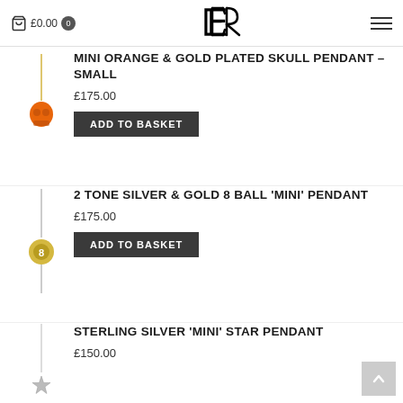£0.00  0  [Logo: ER]  [Hamburger menu]
MINI ORANGE & GOLD PLATED SKULL PENDANT – SMALL
£175.00
ADD TO BASKET
2 TONE SILVER & GOLD 8 BALL 'MINI' PENDANT
£175.00
ADD TO BASKET
STERLING SILVER 'MINI' STAR PENDANT
£150.00